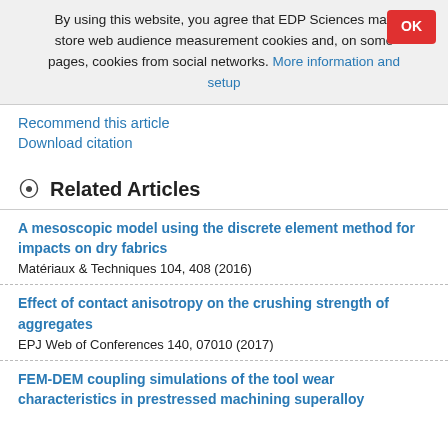By using this website, you agree that EDP Sciences may store web audience measurement cookies and, on some pages, cookies from social networks. More information and setup
Recommend this article
Download citation
Related Articles
A mesoscopic model using the discrete element method for impacts on dry fabrics
Matériaux & Techniques 104, 408 (2016)
Effect of contact anisotropy on the crushing strength of aggregates
EPJ Web of Conferences 140, 07010 (2017)
FEM-DEM coupling simulations of the tool wear characteristics in prestressed machining superalloy